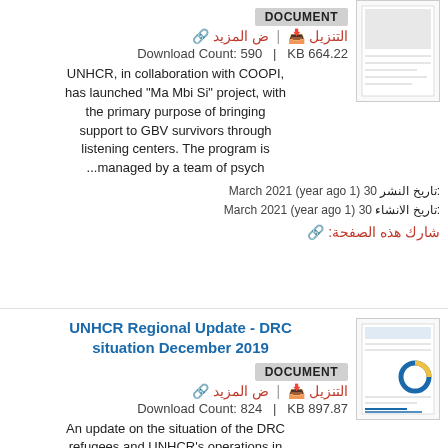DOCUMENT
التنزيل | ض المزيد
Download Count: 590  |  KB 664.22
UNHCR, in collaboration with COOPI, has launched "Ma Mbi Si" project, with the primary purpose of bringing support to GBV survivors through listening centers. The program is ...managed by a team of psych
تاريخ النشر: 30 (1 year ago) March 2021
تاريخ الانشاء: 30 (1 year ago) March 2021
شارك هذه الصفحة:
UNHCR Regional Update - DRC situation December 2019
DOCUMENT
التنزيل | ض المزيد
Download Count: 824  |  KB 897.87
An update on the situation of the DRC refugees and UNHCR's operations in the region
تاريخ النشر: 20 (2 years ago) March 2020
تاريخ الانشاء: 20 (2 years ago) March 2020